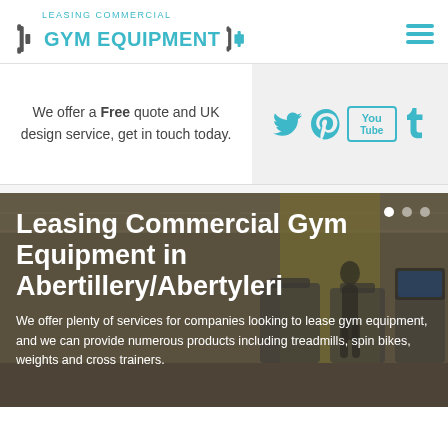[Figure (logo): Leasing Commercial Gym Equipment logo with dumbbell icon and teal/dark text]
[Figure (infographic): Hamburger menu icon (three teal horizontal lines)]
We offer a Free quote and UK design service, get in touch today.
[Figure (infographic): Social media icons: Twitter, Pinterest, YouTube, Tumblr in teal on light grey background]
[Figure (photo): Photo of gym interior with treadmills and yellow walls, person exercising. Dark overlay with text.]
Leasing Commercial Gym Equipment in Abertillery/Abertyleri
We offer plenty of services for companies looking to lease gym equipment, and we can provide numerous products including treadmills, spin bikes, weights and cross trainers.